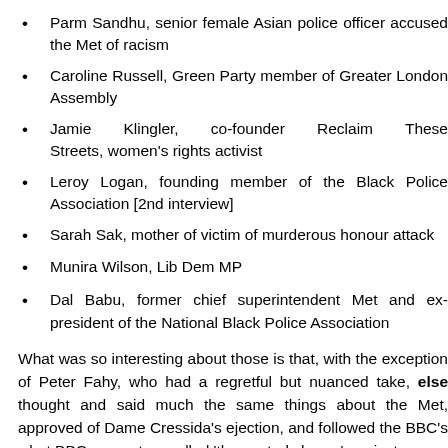Parm Sandhu, senior female Asian police officer accused the Met of racism
Caroline Russell, Green Party member of Greater London Assembly
Jamie Klingler, co-founder Reclaim These Streets, women's rights activist
Leroy Logan, founding member of the Black Police Association [2nd interview]
Sarah Sak, mother of victim of murderous honour attack
Munira Wilson, Lib Dem MP
Dal Babu, former chief superintendent Met and ex-president of the National Black Police Association
What was so interesting about those is that, with the exception of Peter Fahy, who had a regretful but nuanced take, everyone else thought and said much the same things about the Met, approved of Dame Cressida's ejection, and followed the BBC's what BBC presenters called 'the central charge' against